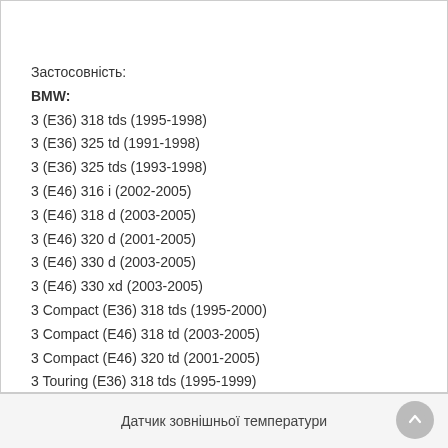Застосовність:
BMW:
3 (E36) 318 tds (1995-1998)
3 (E36) 325 td (1991-1998)
3 (E36) 325 tds (1993-1998)
3 (E46) 316 i (2002-2005)
3 (E46) 318 d (2003-2005)
3 (E46) 320 d (2001-2005)
3 (E46) 330 d (2003-2005)
3 (E46) 330 xd (2003-2005)
3 Compact (E36) 318 tds (1995-2000)
3 Compact (E46) 318 td (2003-2005)
3 Compact (E46) 320 td (2001-2005)
3 Touring (E36) 318 tds (1995-1999)
3 Touring (E36) 325 tds (1995-1999)
3 Touring (E46) 318 d (2002-2005)
Датчик зовнішньої температури